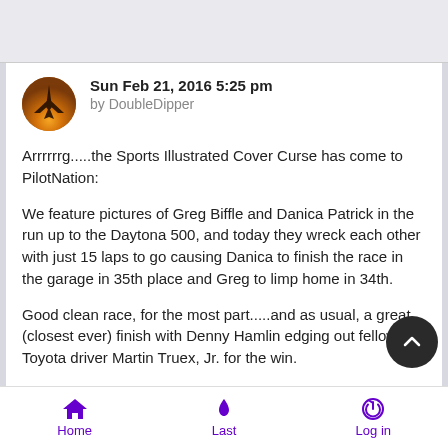Sun Feb 21, 2016 5:25 pm
by DoubleDipper
Arrrrrrg.....the Sports Illustrated Cover Curse has come to PilotNation:
We feature pictures of Greg Biffle and Danica Patrick in the run up to the Daytona 500, and today they wreck each other with just 15 laps to go causing Danica to finish the race in the garage in 35th place and Greg to limp home in 34th.
Good clean race, for the most part.....and as usual, a great (closest ever) finish with Denny Hamlin edging out fellow Toyota driver Martin Truex, Jr. for the win.
Toyota's finished 1, 2, 3, and 4 today, and it was first ever Toyota
Home   Last   Log in